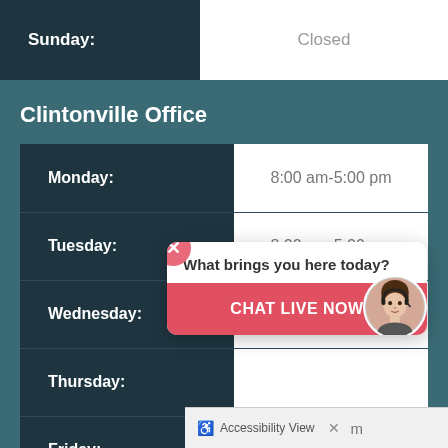| Day | Hours |
| --- | --- |
| Sunday: | Closed |
Clintonville Office
| Day | Hours |
| --- | --- |
| Monday: | 8:00 am-5:00 pm |
| Tuesday: | 8:00 am-5:00 pm |
| Wednesday: | 8:00 am-5:00 pm |
| Thursday: |  |
| Friday: | 8:00 am-5:00 pm |
[Figure (screenshot): Chat widget overlay with 'What brings you here today?' prompt and 'CHAT LIVE NOW' button with agent avatar]
Accessibility View